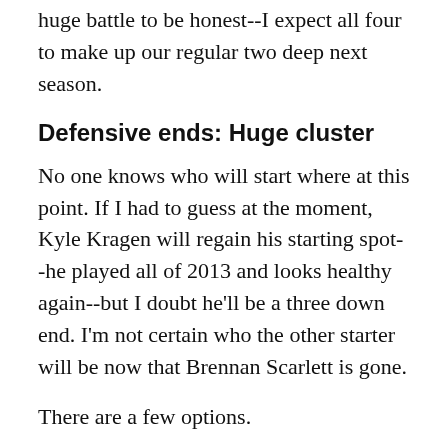huge battle to be honest--I expect all four to make up our regular two deep next season.
Defensive ends: Huge cluster
No one knows who will start where at this point. If I had to guess at the moment, Kyle Kragen will regain his starting spot--he played all of 2013 and looks healthy again--but I doubt he'll be a three down end. I'm not certain who the other starter will be now that Brennan Scarlett is gone.
There are a few options.
The Bears do have the luxury of depth at this position and many versatile skillsets from which to pick. You have Jonathan Johnson, the best pure pass rusher of the bunch. You have Noah Westerfield, who is the